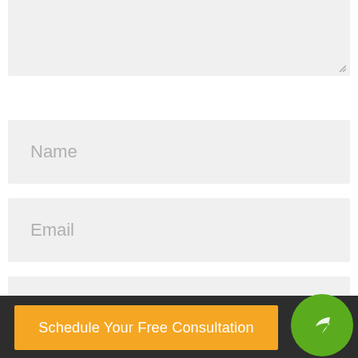[Figure (screenshot): Partially visible textarea input field with resize handle at bottom right]
Name
Email
Website
Submit Comment
Schedule Your Free Consultation